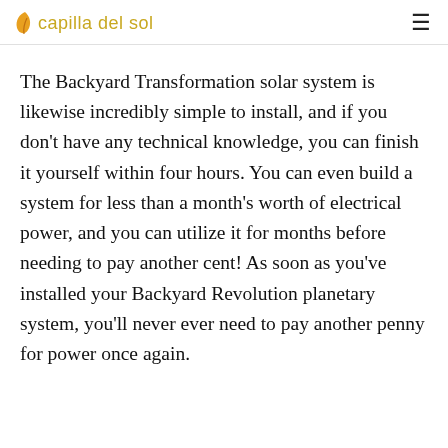capilla del sol
The Backyard Transformation solar system is likewise incredibly simple to install, and if you don't have any technical knowledge, you can finish it yourself within four hours. You can even build a system for less than a month's worth of electrical power, and you can utilize it for months before needing to pay another cent! As soon as you've installed your Backyard Revolution planetary system, you'll never ever need to pay another penny for power once again.